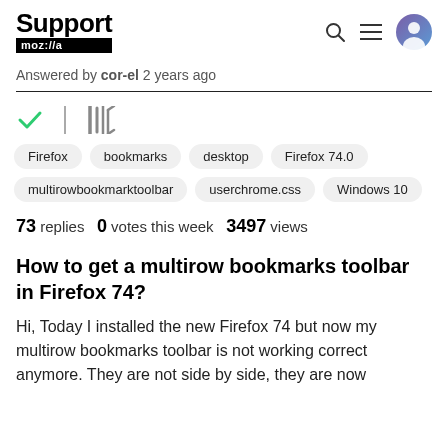Support mozilla://a
Answered by cor-el 2 years ago
[Figure (other): Checkmark icon and library/bookmark icon]
Firefox
bookmarks
desktop
Firefox 74.0
multirowbookmarktoolbar
userchrome.css
Windows 10
73 replies  0 votes this week  3497 views
How to get a multirow bookmarks toolbar in Firefox 74?
Hi, Today I installed the new Firefox 74 but now my multirow bookmarks toolbar is not working correct anymore. They are not side by side, they are now